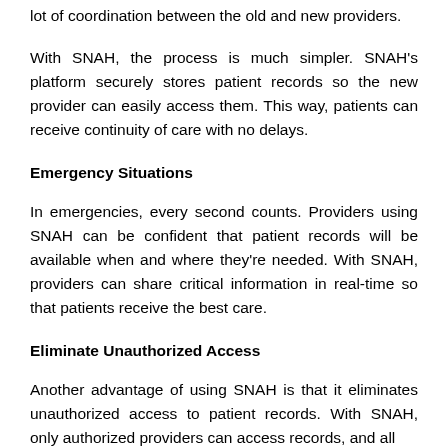lot of coordination between the old and new providers.
With SNAH, the process is much simpler. SNAH's platform securely stores patient records so the new provider can easily access them. This way, patients can receive continuity of care with no delays.
Emergency Situations
In emergencies, every second counts. Providers using SNAH can be confident that patient records will be available when and where they're needed. With SNAH, providers can share critical information in real-time so that patients receive the best care.
Eliminate Unauthorized Access
Another advantage of using SNAH is that it eliminates unauthorized access to patient records. With SNAH, only authorized providers can access records, and all